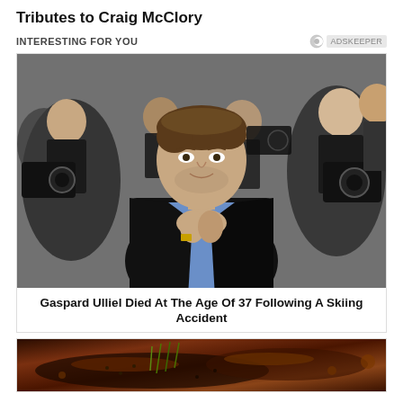Tributes to Craig McClory
INTERESTING FOR YOU
[Figure (photo): Man in black jacket with hands pressed together in prayer gesture, surrounded by photographers with cameras at what appears to be a film festival or press event. Man is in foreground, crowd of photographers in background.]
Gaspard Ulliel Died At The Age Of 37 Following A Skiing Accident
[Figure (photo): Close-up of dark glazed meat dish with green herb garnish, possibly ribs or steak with sauce.]